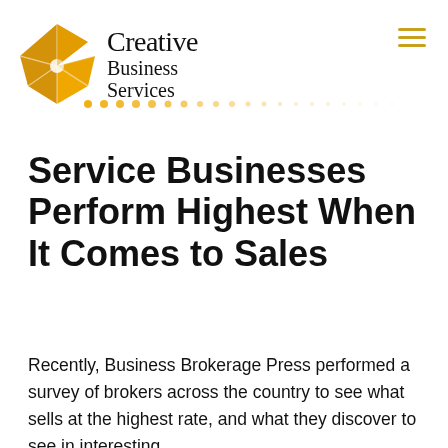[Figure (logo): Creative Business Services logo with yellow pinwheel/starburst graphic and serif text reading 'Creative Business Services' with a dotted line beneath]
Service Businesses Perform Highest When It Comes to Sales
Recently, Business Brokerage Press performed a survey of brokers across the country to see what sells at the highest rate, and what they discover to see in interesting...